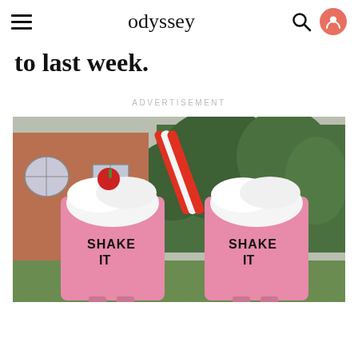odyssey
to last week.
ADVERTISEMENT
[Figure (photo): Two people in milkshake costumes outdoors in front of a brick house and trees. The costumes are pink milkshake cups with whipped cream, a cherry on top, and red-striped straws. The cups read 'SHAKE IT' on the front.]